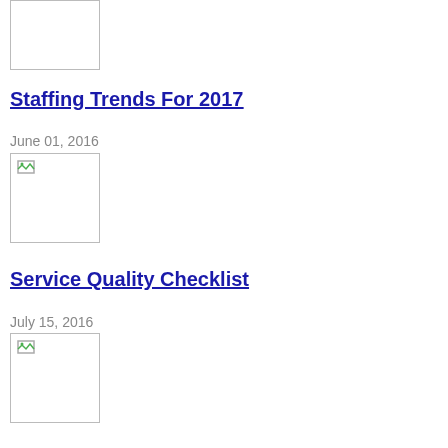[Figure (photo): Broken image placeholder (top of page)]
Staffing Trends For 2017
June 01, 2016
[Figure (photo): Broken image placeholder below date for Staffing Trends]
Service Quality Checklist
July 15, 2016
[Figure (photo): Broken image placeholder below date for Service Quality Checklist]